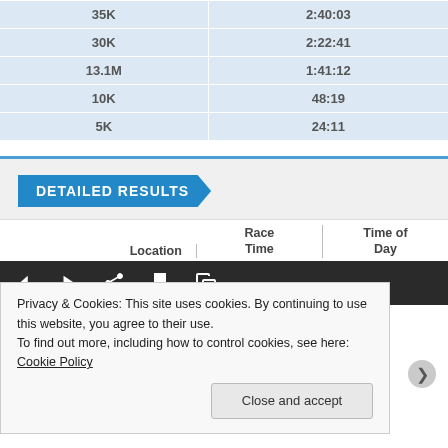|  |  |
| --- | --- |
| 35K | 2:40:03 |
| 30K | 2:22:41 |
| 13.1M | 1:41:12 |
| 10K | 48:19 |
| 5K | 24:11 |
[Figure (screenshot): Detailed Results banner with arrow-shaped blue button labeled DETAILED RESULTS]
| Location | Race Time | Time of Day |
| --- | --- | --- |
[Figure (screenshot): Video player control bar with back, play, share, bookmark, and copy icons on dark background]
Privacy & Cookies: This site uses cookies. By continuing to use this website, you agree to their use.
To find out more, including how to control cookies, see here: Cookie Policy